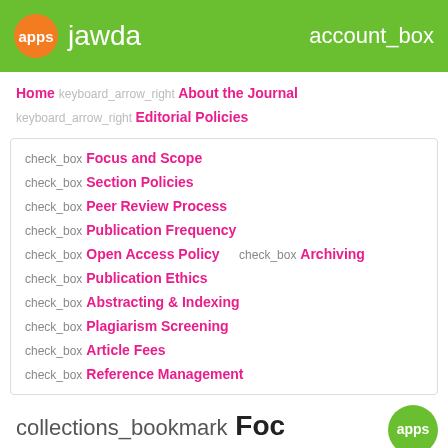apps jawda account_box
Home keyboard_arrow_right About the Journal keyboard_arrow_right Editorial Policies
check_box Focus and Scope
check_box Section Policies
check_box Peer Review Process
check_box Publication Frequency
check_box Open Access Policy  check_box Archiving
check_box Publication Ethics
check_box Abstracting & Indexing
check_box Plagiarism Screening
check_box Article Fees
check_box Reference Management
collections_bookmark Focus and Scope